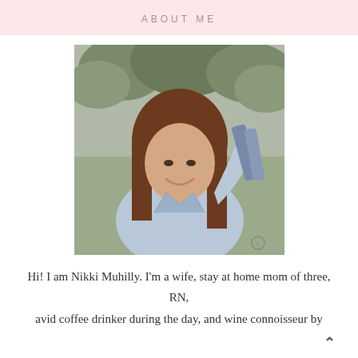ABOUT ME
[Figure (photo): Portrait photo of a smiling woman with long brown hair wearing a light blue denim jacket, holding a piece of clothing up, photographed outdoors in a park setting. Photo is partially desaturated (black and white background with some color on the subject).]
Hi! I am Nikki Muhilly. I'm a wife, stay at home mom of three, RN, avid coffee drinker during the day, and wine connoisseur by